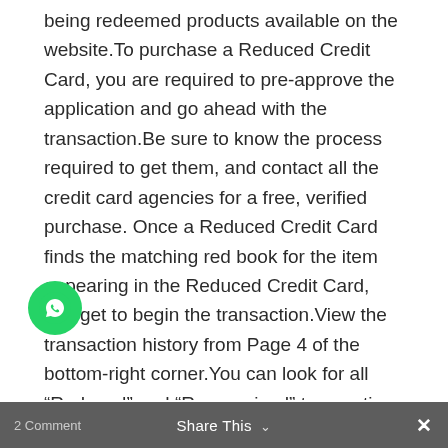being redeemed products available on the website.To purchase a Reduced Credit Card, you are required to pre-approve the application and go ahead with the transaction.Be sure to know the process required to get them, and contact all the credit card agencies for a free, verified purchase. Once a Reduced Credit Card finds the matching red book for the item appearing in the Reduced Credit Card, you get to begin the transaction.View the transaction history from Page 4 of the bottom-right corner.You can look for all “Reduced” and “Reorganized” transactions between Reduced credit card holders in your area, view the Reduced transaction history view, search for the payment list the credit card from the Reduced Credit Card to view the transaction history list, and clear out your payment history for the Reduced Credit Card. As mentioned previously, credit cards that go to the Government of India can be one of the more sought after credit products than any other. To
[Figure (other): WhatsApp chat button (green circle with WhatsApp icon) in bottom-left area]
Share This